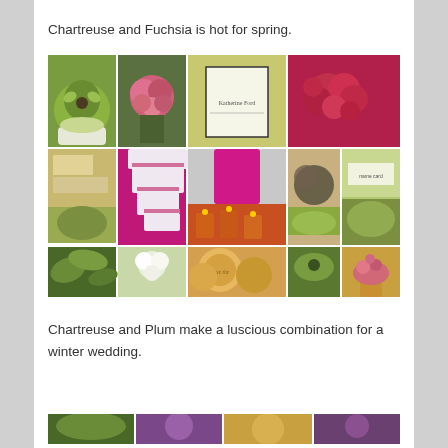Chartreuse and Fuchsia is hot for spring.
[Figure (photo): Collage of wedding photos featuring chartreuse and fuchsia color theme: green orchid cake, pink flower bouquet, invitation card, red roses, place cards/table items, white tiered cake with fuchsia ribbon, fuchsia dress on mannequin, candles, leopard print fabric, green tropical leaves, white floral arrangement, gold round wedding favors, green orchids, pink flowers in gold vase]
Chartreuse and Plum make a luscious combination for a winter wedding.
[Figure (photo): Partial collage visible at bottom of page featuring chartreuse and plum color theme wedding photos]